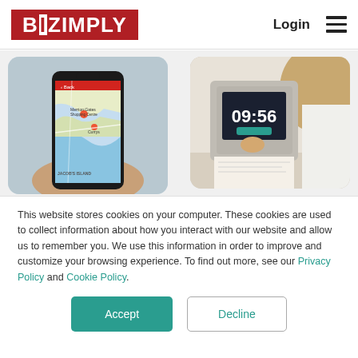[Figure (logo): Bizimply logo — white text on red background in header]
[Figure (screenshot): Two photos side by side: left shows a hand holding a smartphone displaying a map app (Bizimply mobile); right shows a woman pressing a wall-mounted digital clock/time terminal showing 09:56]
This website stores cookies on your computer. These cookies are used to collect information about how you interact with our website and allow us to remember you. We use this information in order to improve and customize your browsing experience. To find out more, see our Privacy Policy and Cookie Policy.
Accept
Decline